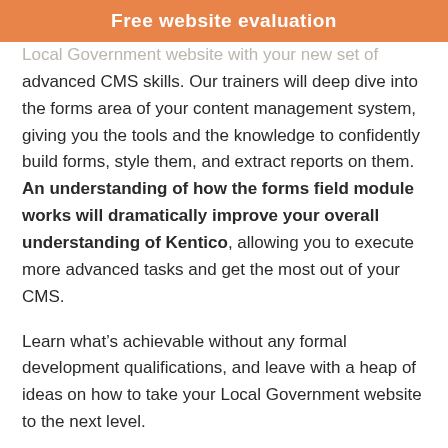Free website evaluation
Local Government website with your new set of advanced CMS skills. Our trainers will deep dive into the forms area of your content management system, giving you the tools and the knowledge to confidently build forms, style them, and extract reports on them. An understanding of how the forms field module works will dramatically improve your overall understanding of Kentico, allowing you to execute more advanced tasks and get the most out of your CMS.
Learn what’s achievable without any formal development qualifications, and leave with a heap of ideas on how to take your Local Government website to the next level.